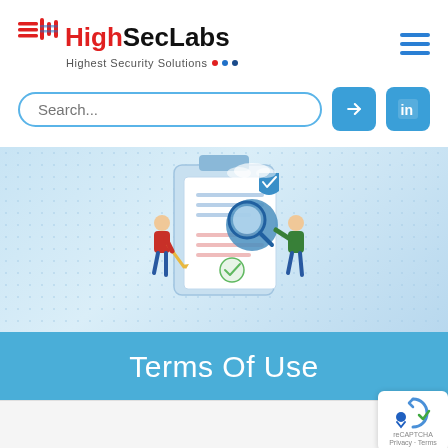[Figure (logo): HighSecLabs logo with icon and tagline 'Highest Security Solutions' with colored dots]
[Figure (illustration): Banner illustration showing two people examining a document with magnifying glass and security shield, on a light blue dotted background]
Terms Of Use
[Figure (other): reCAPTCHA badge and accessibility icon in bottom right corner]